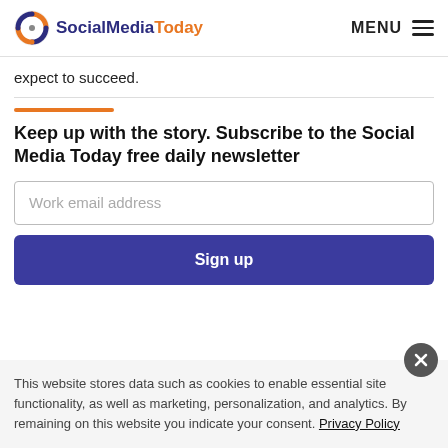SocialMediaToday MENU
expect to succeed.
Keep up with the story. Subscribe to the Social Media Today free daily newsletter
Work email address
Sign up
This website stores data such as cookies to enable essential site functionality, as well as marketing, personalization, and analytics. By remaining on this website you indicate your consent. Privacy Policy